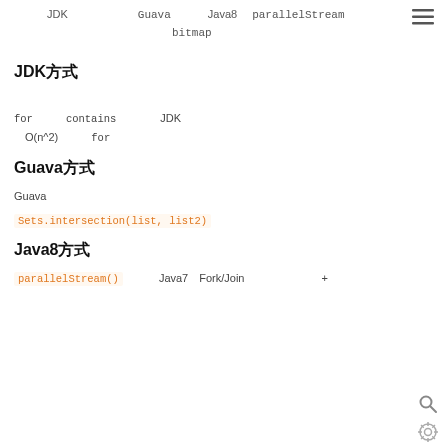JDK　　　　　　Guava　　　Java8　parallelStream　　　　　　　　　　　　　　bitmap
JDK方式
for　　　　contains　　　　　JDK　　　　　　　　　O(n^2)　　　for
Guava方式
Guava
Sets.intersection(list, list2)
Java8方式
parallelStream() 　　　Java7　Fork/Join　　　　　　　+